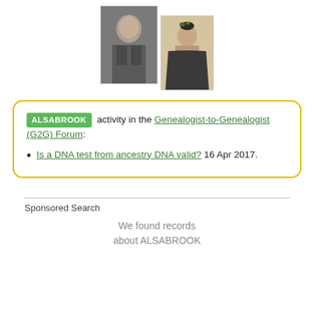[Figure (photo): Black and white portrait photo of a man in a suit]
[Figure (photo): Vintage sepia portrait photo of a woman in Victorian-era dress with floral headpiece]
ALSABROOK activity in the Genealogist-to-Genealogist (G2G) Forum:
Is a DNA test from ancestry DNA valid? 16 Apr 2017.
Sponsored Search
We found records about ALSABROOK